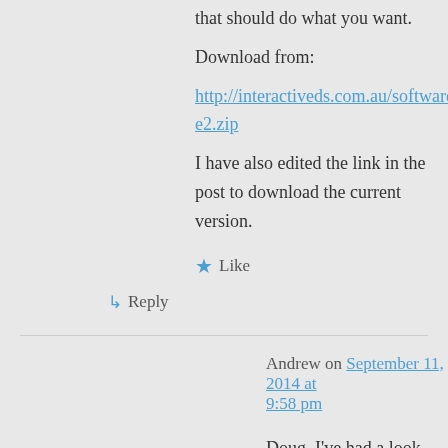that should do what you want.
Download from:
http://interactiveds.com.au/software/CSpline2.zip
I have also edited the link in the post to download the current version.
★ Like
↳ Reply
Andrew on September 11, 2014 at 9:58 pm
Doug, I've had a look at the card spline, and I must admit that I am a little bit uncertain as to what the